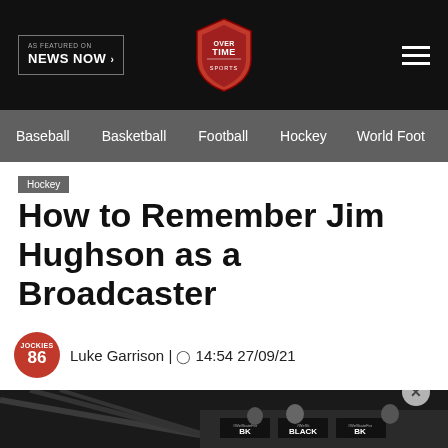AS FEATURED ON NEWS NOW > | OVERTIME | [hamburger menu]
Baseball | Basketball | Football | Hockey | World Foot
Hockey
How to Remember Jim Hughson as a Broadcaster
Luke Garrison | 14:54 27/09/21
[Figure (other): Social sharing icons: Facebook, Twitter, WhatsApp, LinkedIn, Flipboard, Email]
[Figure (photo): Photo of broadcast booth with people at desks, #WeSkateFor signs visible]